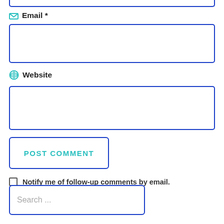Email *
[Figure (other): Empty email input field with blue border]
Website
[Figure (other): Empty website input field with blue border]
[Figure (other): POST COMMENT button with blue border and teal text]
Notify me of follow-up comments by email.
Notify me of new posts by email.
[Figure (other): Search input field with placeholder text 'Search ...']